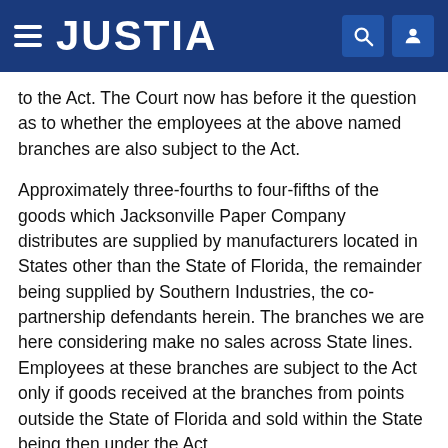JUSTIA
to the Act. The Court now has before it the question as to whether the employees at the above named branches are also subject to the Act.
Approximately three-fourths to four-fifths of the goods which Jacksonville Paper Company distributes are supplied by manufacturers located in States other than the State of Florida, the remainder being supplied by Southern Industries, the co-partnership defendants herein. The branches we are here considering make no sales across State lines. Employees at these branches are subject to the Act only if goods received at the branches from points outside the State of Florida and sold within the State being then under the Act.
The factual situation surrounding defendant's business and its methods of operating changed substantially